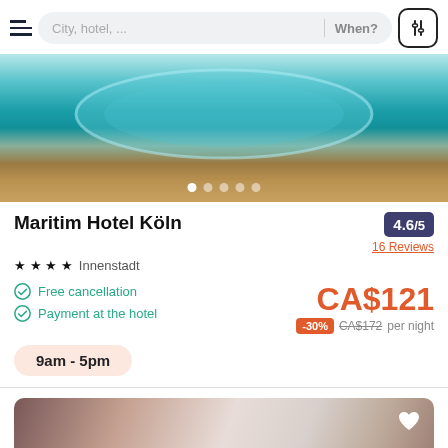[Figure (screenshot): Search bar with hamburger menu, 'City, hotel, ...' input, 'When?' placeholder, and filter icon button]
[Figure (photo): Hotel pool area with blue water and wooden deck surround, with carousel navigation dots]
Maritim Hotel Köln
★ ★ ★ ★  Innenstadt
4.6/5
16 Reviews
Free cancellation
Payment at the hotel
CA$121
-30%  CA$172 per night
9am - 5pm
[Figure (photo): Hotel room interior with light walls, curtains, and furniture visible at the bottom of the page]